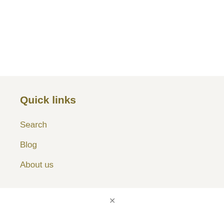Quick links
Search
Blog
About us